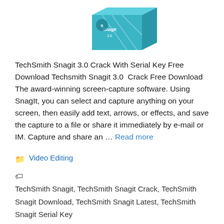[Figure (illustration): Product box image of TechSmith Snagit software, blue/teal colored box shown at an angle from the top portion]
TechSmith Snagit 3.0 Crack With Serial Key Free Download Techsmith Snagit 3.0 Crack Free Download The award-winning screen-capture software. Using SnagIt, you can select and capture anything on your screen, then easily add text, arrows, or effects, and save the capture to a file or share it immediately by e-mail or IM. Capture and share an … Read more
Video Editing
TechSmith Snagit, TechSmith Snagit Crack, TechSmith Snagit Download, TechSmith Snagit Latest, TechSmith Snagit Serial Key